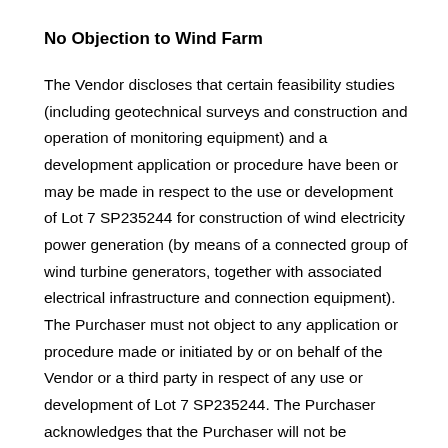No Objection to Wind Farm
The Vendor discloses that certain feasibility studies (including geotechnical surveys and construction and operation of monitoring equipment) and a development application or procedure have been or may be made in respect to the use or development of Lot 7 SP235244 for construction of wind electricity power generation (by means of a connected group of wind turbine generators, together with associated electrical infrastructure and connection equipment). The Purchaser must not object to any application or procedure made or initiated by or on behalf of the Vendor or a third party in respect of any use or development of Lot 7 SP235244. The Purchaser acknowledges that the Purchaser will not be materially